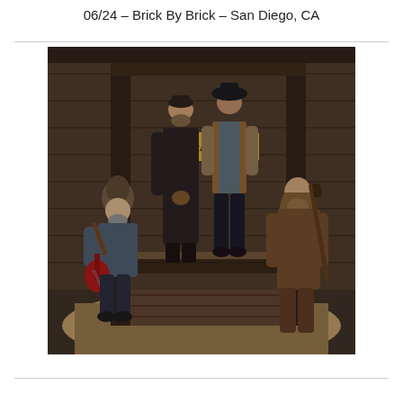06/24 – Brick By Brick – San Diego, CA
[Figure (photo): Band photo of four musicians posed in a rustic Western-style wooden building setting. Left: a man with a hat and beard sitting, holding a red electric guitar. Center-left: a tall man in a long dark coat. Center-right: a man in a vest and dark hat. Right: a long-haired man sitting and holding a rifle. Sandy ground in foreground, weathered wood walls and beams in background, with a partial sign reading 'General Store'.]